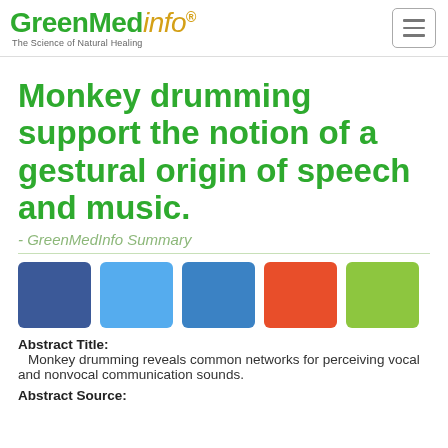GreenMedInfo - The Science of Natural Healing
Monkey drumming support the notion of a gestural origin of speech and music.
- GreenMedInfo Summary
[Figure (other): Five social sharing icon buttons: Facebook (dark blue), Twitter (light blue), LinkedIn (medium blue), Reddit (orange-red), Google Plus (yellow-green)]
Abstract Title: Monkey drumming reveals common networks for perceiving vocal and nonvocal communication sounds.
Abstract Source: